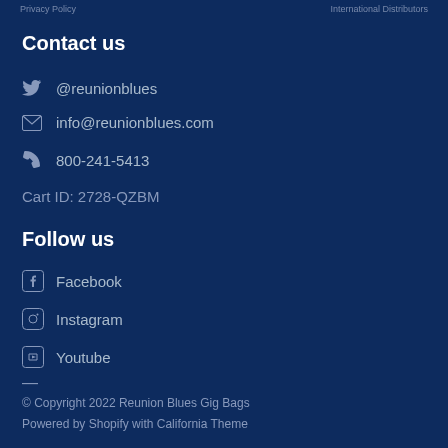Privacy Policy    International Distributors
Contact us
@reunionblues
info@reunionblues.com
800-241-5413
Cart ID: 2728-QZBM
Follow us
Facebook
Instagram
Youtube
© Copyright 2022 Reunion Blues Gig Bags
Powered by Shopify with California Theme